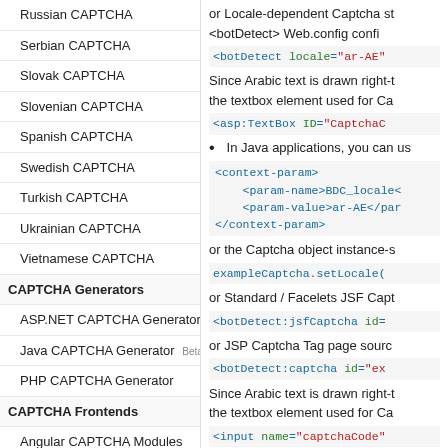Russian CAPTCHA
Serbian CAPTCHA
Slovak CAPTCHA
Slovenian CAPTCHA
Spanish CAPTCHA
Swedish CAPTCHA
Turkish CAPTCHA
Ukrainian CAPTCHA
Vietnamese CAPTCHA
CAPTCHA Generators
ASP.NET CAPTCHA Generator
Java CAPTCHA Generator Beta
PHP CAPTCHA Generator
CAPTCHA Frontends
Angular CAPTCHA Modules
jQuery CAPTCHA Plugin
React CAPTCHA Component
CAPTCHA APIs
Intro
Traditional API
or Locale-dependent Captcha st <botDetect> Web.config confi
<botDetect locale="ar-AE"
Since Arabic text is drawn right-t the textbox element used for Ca
<asp:TextBox ID="CaptchaC
In Java applications, you can us
<context-param>
    <param-name>BDC_locale<
    <param-value>ar-AE</par
</context-param>
or the Captcha object instance-s
exampleCaptcha.setLocale(
or Standard / Facelets JSF Capt
<botDetect:jsfCaptcha id=
or JSP Captcha Tag page sourc
<botDetect:captcha id="ex
Since Arabic text is drawn right-t the textbox element used for Ca
<input name="captchaCode"
In ASP.Classic applications...